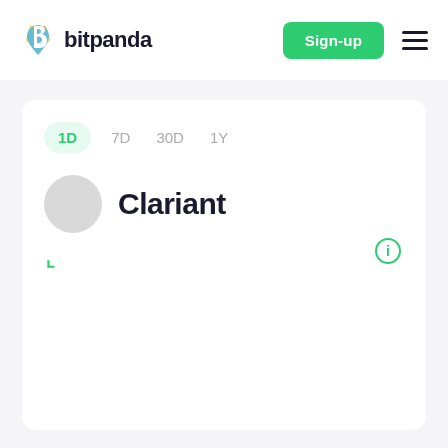[Figure (logo): Bitpanda logo with stylized B icon in blue and yellow, followed by bold text 'bitpanda']
Sign-up
[Figure (other): Hamburger menu icon with three horizontal lines]
1D  7D  30D  1Y
Clariant